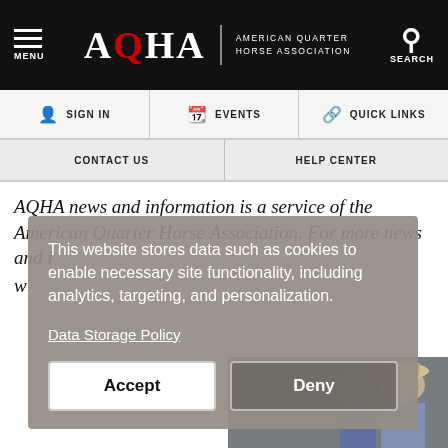MENU | AQHA AMERICAN QUARTER HORSE ASSOCIATION | SEARCH
SIGN IN | EVENTS | QUICK LINKS
CONTACT US | HELP CENTER
AQHA news and information is a service of the American Quarter Horse Association. For more news and information, visit www.aqha.com
This website stores data such as cookies to enable necessary site functionality, including analytics, targeting, and personalization.
Data Storage Policy
Accept
Deny
[Figure (photo): Two men in western attire including cowboy hats at an indoor event]